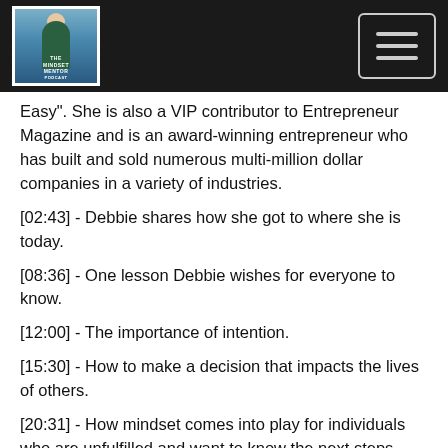[Figure (logo): Website header with logo image on dark background and hamburger menu icon]
Easy". She is also a VIP contributor to Entrepreneur Magazine and is an award-winning entrepreneur who has built and sold numerous multi-million dollar companies in a variety of industries.
[02:43] - Debbie shares how she got to where she is today.
[08:36] - One lesson Debbie wishes for everyone to know.
[12:00] - The importance of intention.
[15:30] - How to make a decision that impacts the lives of others.
[20:31] - How mindset comes into play for individuals who are unfulfilled and want to know the next steps.
[24:18] - “Get your ask in gear”
[32:16] - Debbie’s advice to those who focus on their failures.
[46:30] - Connect with Debbie Allen by visiting her website at DebbieAllen.com. Read her book “Success is Easy” and take her online course under the “Success Resources” tab on her